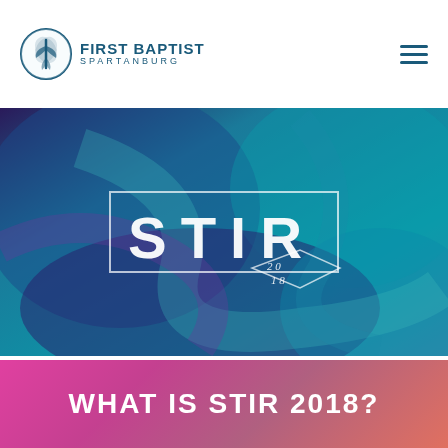[Figure (logo): First Baptist Spartanburg circular logo with stylized leaf/cross icon and text 'FIRST BAPTIST SPARTANBURG']
[Figure (illustration): Hero banner image with teal/blue and purple abstract swirling background with STIR 2018 text overlay in white inside a rectangular border]
WHAT IS STIR 2018?